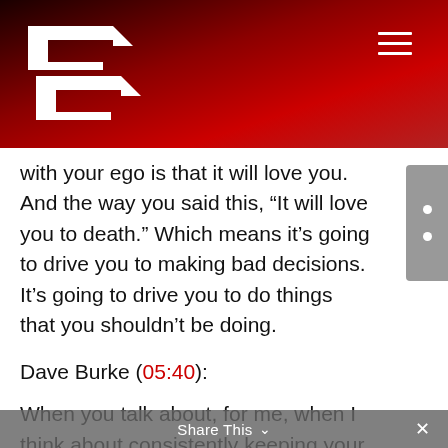[Figure (logo): EE logo with arrow-shaped letters in white on dark red/black header background]
with your ego is that it will love you. And the way you said this, “It will love you to death.” Which means it’s going to drive you to making bad decisions. It’s going to drive you to do things that you shouldn’t be doing.
Dave Burke (05:40):
When you talk about, for me, when I think about consistently keeping your ego in check it’s that recognition that you have to develop a mechanism in your own mind that you are constantly looking, and
Share This